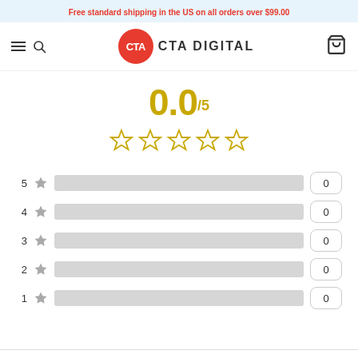Free standard shipping in the US on all orders over $99.00
[Figure (logo): CTA Digital logo with hamburger menu, search icon, and cart icon navigation bar]
0.0/5
[Figure (infographic): Five empty gold star rating icons]
| Stars | Bar | Count |
| --- | --- | --- |
| 5 ★ |  | 0 |
| 4 ★ |  | 0 |
| 3 ★ |  | 0 |
| 2 ★ |  | 0 |
| 1 ★ |  | 0 |